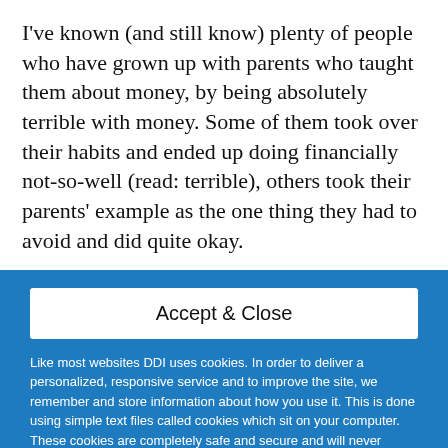I've known (and still know) plenty of people who have grown up with parents who taught them about money, by being absolutely terrible with money. Some of them took over their habits and ended up doing financially not-so-well (read: terrible), others took their parents' example as the one thing they had to avoid and did quite okay.
Accept & Close
Like most websites DDI uses cookies. In order to deliver a personalized, responsive service and to improve the site, we remember and store information about how you use it. This is done using simple text files called cookies which sit on your computer. These cookies are completely safe and secure and will never contain any sensitive information.